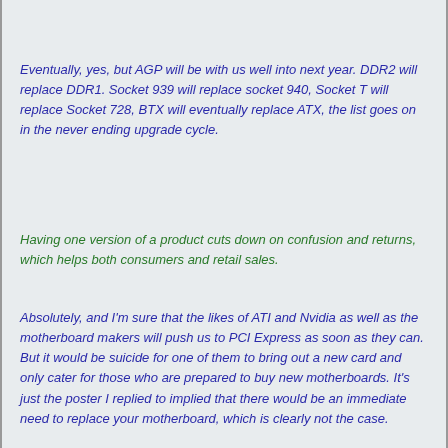Eventually, yes, but AGP will be with us well into next year. DDR2 will replace DDR1. Socket 939 will replace socket 940, Socket T will replace Socket 728, BTX will eventually replace ATX, the list goes on in the never ending upgrade cycle.
Having one version of a product cuts down on confusion and returns, which helps both consumers and retail sales.
Absolutely, and I'm sure that the likes of ATI and Nvidia as well as the motherboard makers will push us to PCI Express as soon as they can. But it would be suicide for one of them to bring out a new card and only cater for those who are prepared to buy new motherboards. It's just the poster I replied to implied that there would be an immediate need to replace your motherboard, which is clearly not the case.
I have a gut feeling that PCI Express will do very little for